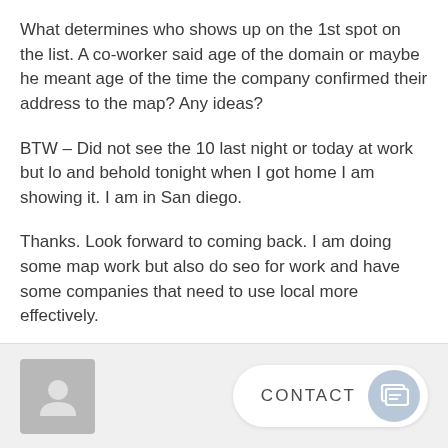What determines who shows up on the 1st spot on the list. A co-worker said age of the domain or maybe he meant age of the time the company confirmed their address to the map? Any ideas?
BTW – Did not see the 10 last night or today at work but lo and behold tonight when I got home I am showing it. I am in San diego.
Thanks. Look forward to coming back. I am doing some map work but also do seo for work and have some companies that need to use local more effectively.
[Figure (other): User avatar placeholder icon (grey silhouette of a person)]
CONTACT